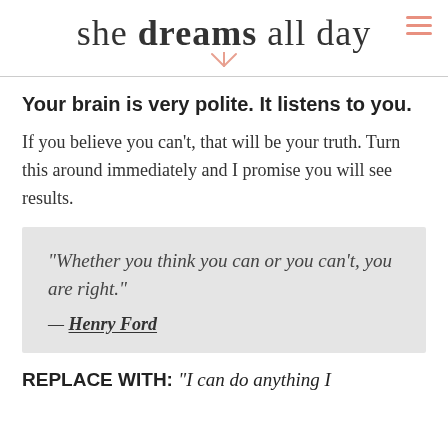she dreams all day
Your brain is very polite. It listens to you.
If you believe you can't, that will be your truth. Turn this around immediately and I promise you will see results.
“Whether you think you can or you can't, you are right.” — Henry Ford
REPLACE WITH: “I can do anything I